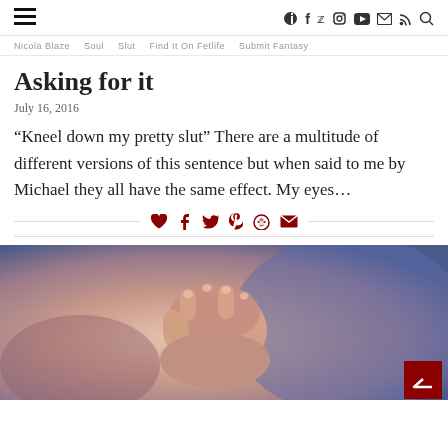≡  f  𝕏  ⊙  ▶  ✉  )))  🔍
Nicola Blaze  Soul  Slut  Find It On Fetlife  Submit Fantasy
Asking for it
July 16, 2016
“Kneel down my pretty slut” There are a multitude of different versions of this sentence but when said to me by Michael they all have the same effect. My eyes...
[Figure (infographic): Social share bar with heart, facebook, twitter, pinterest, reddit, and email icons in dark red]
[Figure (photo): Close-up photograph of a hand with fingers curled, held by another hand, against a blurred blue background]